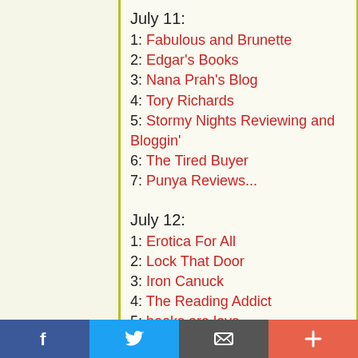July 11:
1: Fabulous and Brunette
2: Edgar's Books
3: Nana Prah's Blog
4: Tory Richards
5: Stormy Nights Reviewing and Bloggin'
6: The Tired Buyer
7: Punya Reviews...
July 12:
1: Erotica For All
2: Lock That Door
3: Iron Canuck
4: The Reading Addict
5: books are love
6: Jazzy Book Reviews
July 13:
f  [twitter]  [email]  +